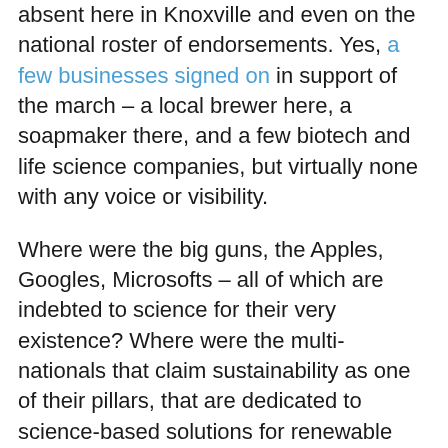absent here in Knoxville and even on the national roster of endorsements. Yes, a few businesses signed on in support of the march – a local brewer here, a soapmaker there, and a few biotech and life science companies, but virtually none with any voice or visibility.
Where were the big guns, the Apples, Googles, Microsofts – all of which are indebted to science for their very existence? Where were the multi-nationals that claim sustainability as one of their pillars, that are dedicated to science-based solutions for renewable energy, clean water and reducing their carbon footprints? By sitting this out, it seems to me they missed a good opportunity to take a leadership position.
Remember from our Pulse studies, even